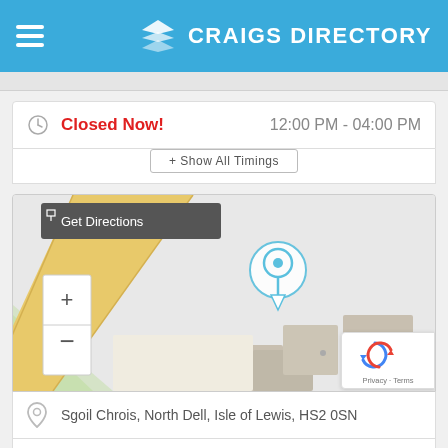CRAIGS DIRECTORY
Closed Now! 12:00 PM - 04:00 PM
+ Show All Timings
[Figure (map): Leaflet map showing location pin at Sgoil Chrois, North Dell, Isle of Lewis, HS2 0SN with zoom +/- controls and Get Directions button]
Sgoil Chrois, North Dell, Isle of Lewis, HS2 0SN
+441851810377